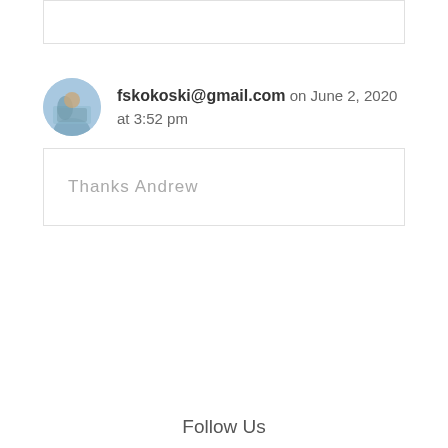[Figure (other): Empty bordered box at top of page]
fskokoski@gmail.com on June 2, 2020 at 3:52 pm
Thanks Andrew
Follow Us